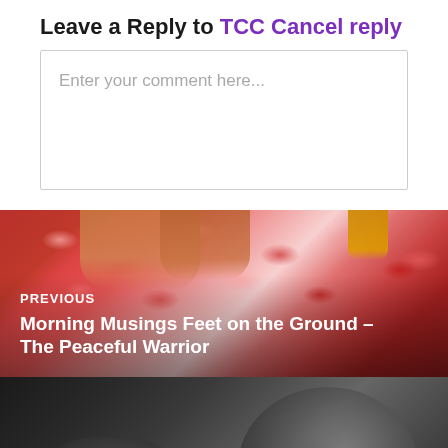Leave a Reply to TCC Cancel reply
Enter your comment here...
[Figure (photo): Previous post navigation image showing feet among red rose petals with text 'PREVIOUS Morning Musings Feet on the Ground – The Peaceful Warrior']
[Figure (photo): Next post navigation image in black and white showing hands clasped with text 'NEXT Bodhisattva Vows in My Bathroom Mirror – The Intention to Do Good']